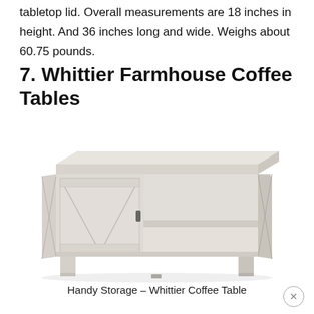tabletop lid. Overall measurements are 18 inches in height. And 36 inches long and wide. Weighs about 60.75 pounds.
7. Whittier Farmhouse Coffee Tables
[Figure (photo): White farmhouse-style coffee table with a sliding barn door panel on the left side and open shelving on the right, sitting on four legs.]
Handy Storage – Whittier Coffee Table